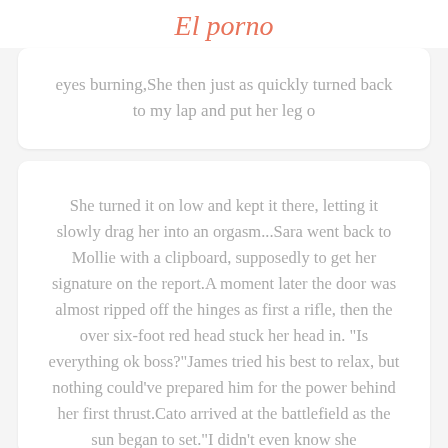El porno
eyes burning,She then just as quickly turned back to my lap and put her leg o
She turned it on low and kept it there, letting it slowly drag her into an orgasm...Sara went back to Mollie with a clipboard, supposedly to get her signature on the report.A moment later the door was almost ripped off the hinges as first a rifle, then the over six-foot red head stuck her head in. "Is everything ok boss?"James tried his best to relax, but nothing could've prepared him for the power behind her first thrust.Cato arrived at the battlefield as the sun began to set.“I didn’t even know she